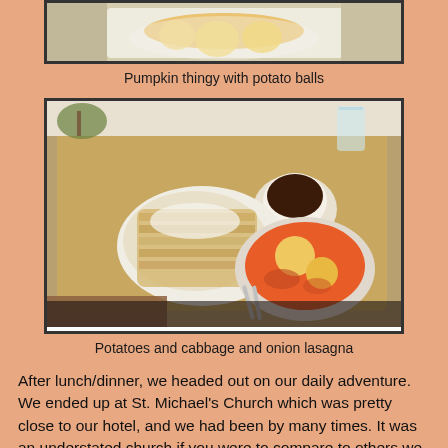[Figure (photo): Top portion of a food photo showing a pumpkin dish with potato balls on a white plate, partially cropped]
Pumpkin thingy with potato balls
[Figure (photo): Food photo showing potatoes and cabbage and onion lasagna on a wooden tray with a white plate of lasagna, a bowl of tomato stew with potato balls, and a small cup of coffee]
Potatoes and cabbage and onion lasagna
After lunch/dinner, we headed out on our daily adventure. We ended up at St. Michael's Church which was pretty close to our hotel, and we had been by many times. It was an understated church if you were to compare to others we have seen, but beautiful nonetheless. It had many of the